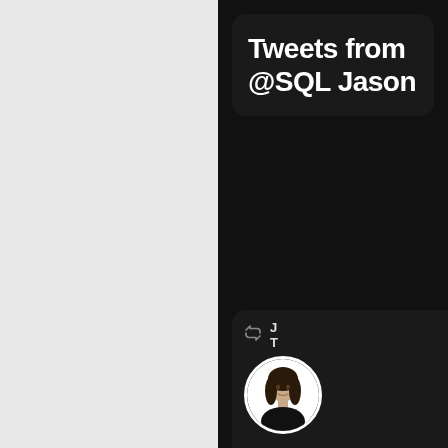Tweets from @SQLJason
[Figure (screenshot): Twitter/X widget screenshot showing a tweet card with a retweet icon, profile photo of a woman, and tweet text: 'For all you #Azure Synapse fans, the Synapse CAT team']
For all you #Azure Synapse fans, the Synapse CAT team